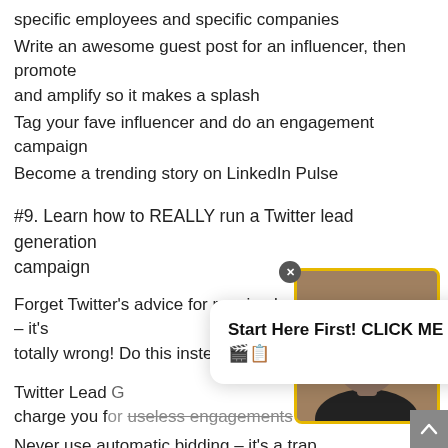specific employees and specific companies
Write an awesome guest post for an influencer, then promote and amplify so it makes a splash
Tag your fave influencer and do an engagement campaign
Become a trending story on LinkedIn Pulse
#9. Learn how to REALLY run a Twitter lead generation campaign
Forget Twitter's advice for running lead gen campaigns – it's totally wrong! Do this instead:
Twitter Lead [partially obscured] charge you for [strikethrough: useless engagements]
Never use automatic bidding – it's a trap
Instead, use funny images, emoji, advanced targeting options
[Figure (screenshot): Popup call-to-action box with bold text 'Start Here First! CLICK ME' with emoji, overlaid on page content]
[Figure (photo): Photo of a man wearing a cap, displayed in a box with a yellow/gold border, with an X close button]